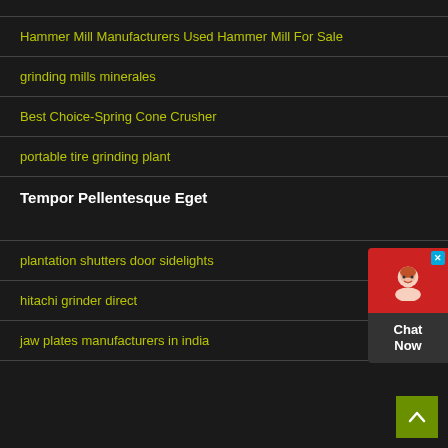Hammer Mill Manufacturers Used Hammer Mill For Sale
grinding mills minerales
Best Choice-Spring Cone Crusher
portable tire grinding plant
Tempor Pellentesque Eget
plantation shutters door sidelights
hitachi grinder direct
jaw plates manufacturers in india